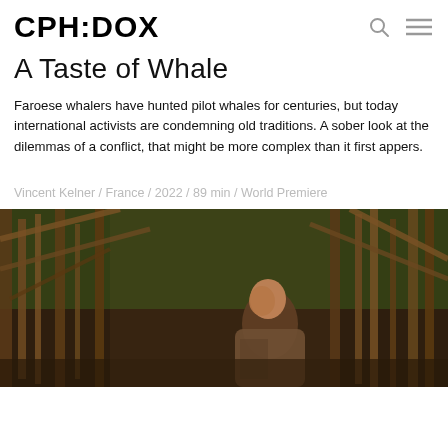CPH:DOX
A Taste of Whale
Faroese whalers have hunted pilot whales for centuries, but today international activists are condemning old traditions. A sober look at the dilemmas of a conflict, that might be more complex than it first appers.
Vincent Kelner / France / 2022 / 89 min / World Premiere
[Figure (photo): A man sitting inside a wooden structure made of bamboo or timber, surrounded by wooden beams and scaffolding, with green foliage visible in the background.]